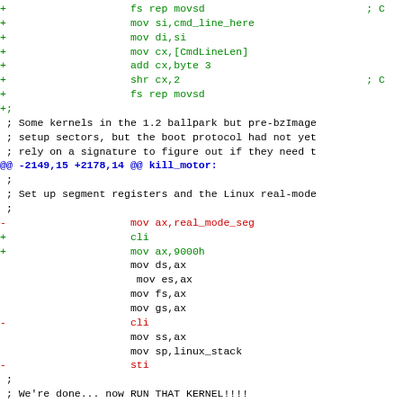Diff/patch code showing assembly changes for Linux boot setup, including segment register initialization and kernel launch.